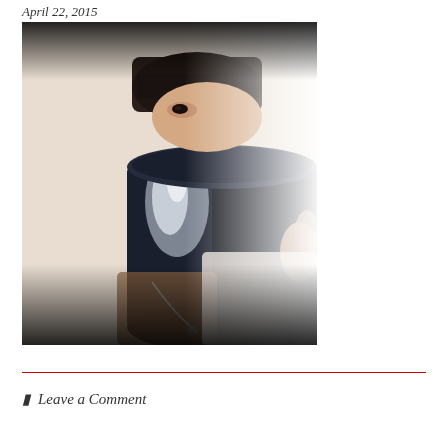April 22, 2015
[Figure (photo): A person holding a large dark navy/black ceramic mug up to their face, partially obscuring their features. The image has a faded, slightly vintage look with white vignetting around the edges and a dark border. The person has dark hair with bangs and is wearing a light-colored top with a necklace visible.]
Leave a Comment